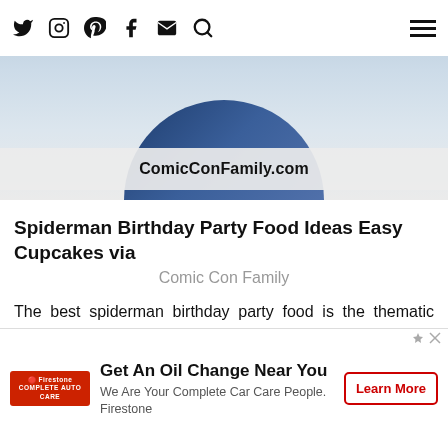Navigation bar with social icons: Twitter, Instagram, Pinterest, Facebook, Email, Search, and hamburger menu
[Figure (photo): Partial photo of a blue and white bowl/plate on a light grey surface with ComicConFamily.com watermark]
Spiderman Birthday Party Food Ideas Easy Cupcakes via Comic Con Family
The best spiderman birthday party food is the thematic cake designed with red colors and a cobweb alike. Candies and fruits can be usual.
[Figure (photo): Second image strip showing pretzel food item with orange-brown colors and red text 'Pretzel' partially visible]
Get An Oil Change Near You We Are Your Complete Car Care People. Firestone Learn More